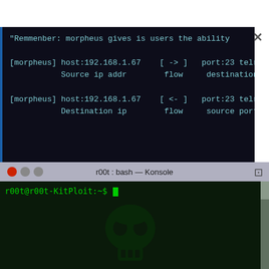[Figure (screenshot): Top terminal window with dark navy background and blue left border, showing morpheus network tool output. Text in cyan: '"Remmenber: morpheus gives is users the ability', '[morpheus] host:192.168.1.67  [ -> ]  port:23 telnet...', 'Source ip addr   flow   destination', '[morpheus] host:192.168.1.67  [ <- ]  port:23 telnet...', 'Destination ip   flow   source port'. An X close button on the right.]
[Figure (screenshot): Bottom Konsole terminal window with gray title bar reading 'r00t : bash — Konsole', red close button and two gray buttons on left, dark green body showing prompt 'r00t@r00t-KitPloit:~$' with cursor, and a faint skull/logo watermark in the background.]